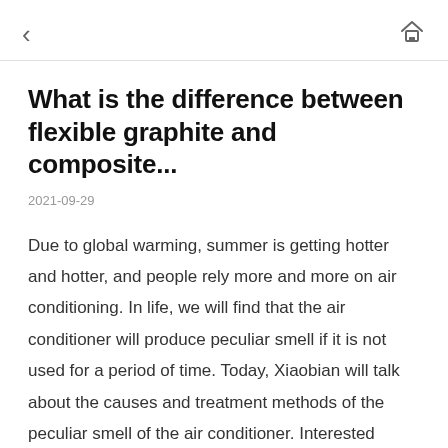< [home icon]
What is the difference between flexible graphite and composite...
2021-09-29
Due to global warming, summer is getting hotter and hotter, and people rely more and more on air conditioning. In life, we will find that the air conditioner will produce peculiar smell if it is not used for a period of time. Today, Xiaobian will talk about the causes and treatment methods of the peculiar smell of the air conditioner. Interested